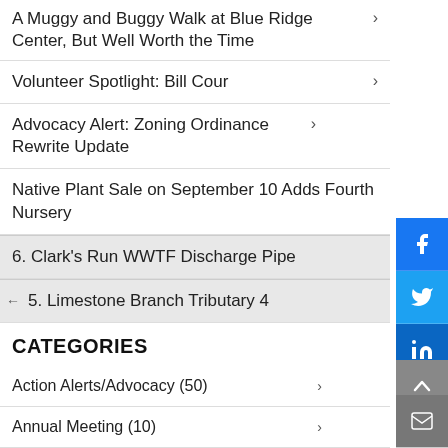A Muggy and Buggy Walk at Blue Ridge Center, But Well Worth the Time
Volunteer Spotlight: Bill Cour
Advocacy Alert: Zoning Ordinance Rewrite Update
Native Plant Sale on September 10 Adds Fourth Nursery
6. Clark's Run WWTF Discharge Pipe
5. Limestone Branch Tributary 4
CATEGORIES
Action Alerts/Advocacy (50)
Annual Meeting (10)
Audubon At Home (11)